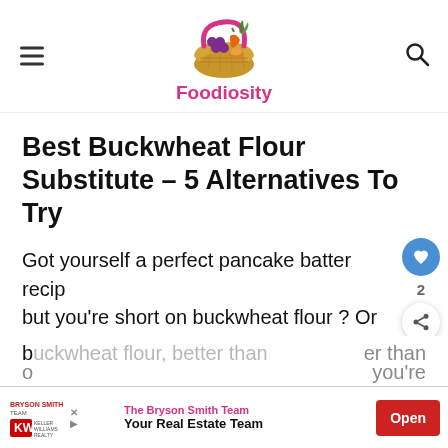Foodiosity
Best Buckwheat Flour Substitute – 5 Alternatives To Try
Got yourself a perfect pancake batter recipe but you're short on buckwheat flour ? Or maybe you don't even own a pack of buckwheat flour at all ? That's okay, there's a few alternatives you can use in place of buckwheat flour...